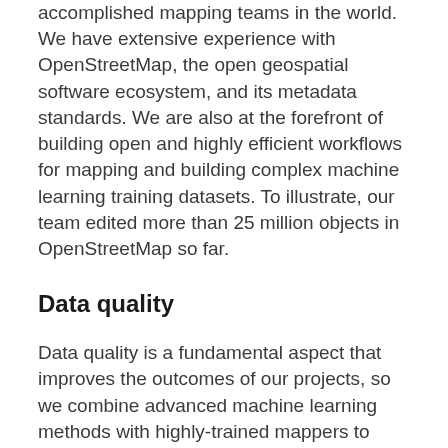accomplished mapping teams in the world. We have extensive experience with OpenStreetMap, the open geospatial software ecosystem, and its metadata standards. We are also at the forefront of building open and highly efficient workflows for mapping and building complex machine learning training datasets. To illustrate, our team edited more than 25 million objects in OpenStreetMap so far.
Data quality
Data quality is a fundamental aspect that improves the outcomes of our projects, so we combine advanced machine learning methods with highly-trained mappers to quickly and consistently produce pixel-perfect maps and imagery annotation.